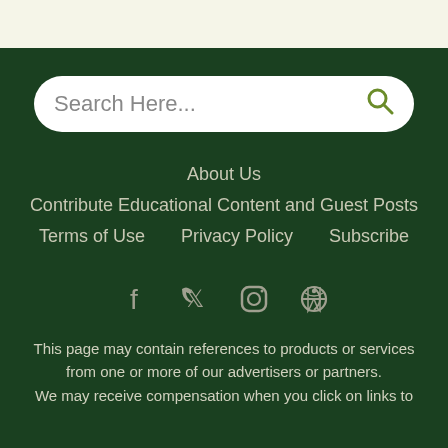Search Here...
About Us
Contribute Educational Content and Guest Posts
Terms of Use
Privacy Policy
Subscribe
[Figure (infographic): Social media icons: Facebook, Twitter, Instagram, Pinterest]
This page may contain references to products or services from one or more of our advertisers or partners. We may receive compensation when you click on links to